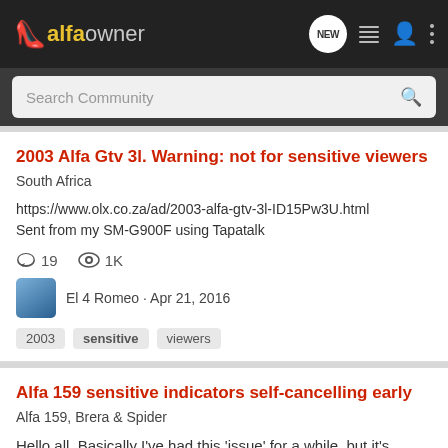alfaowner — navigation bar with NEW, list, person, and menu icons
Search Community
2003 Alfa Gtv 3l. Warning: not for sensitive viewers
South Africa
https://www.olx.co.za/ad/2003-alfa-gtv-3l-ID15Pw3U.html
Sent from my SM-G900F using Tapatalk
19 comments · 1K views
El 4 Romeo · Apr 21, 2016
Tags: 2003, sensitive, viewers
Alfa 159 sensitive indicators self-cancelling early
Alfa 159, Brera & Spider
Hello all, Basically I've had this 'issue' for a while, but it's getting on my nerves now. Every time I approach a round